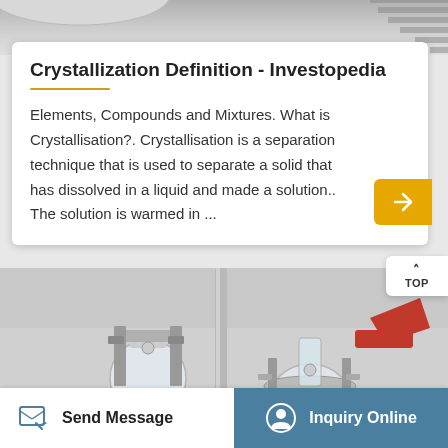[Figure (photo): Top portion of a laboratory/industrial equipment setup, grayscale/blurred background]
Crystallization Definition - Investopedia
Elements, Compounds and Mixtures. What is Crystallisation?. Crystallisation is a separation technique that is used to separate a solid that has dissolved in a liquid and made a solution.. The solution is warmed in ...
[Figure (photo): Close-up photograph of laboratory crystallization equipment: glass flasks, metal clamps, red-capped tubing, stainless steel hardware on a reflective surface]
Send Message
Inquiry Online